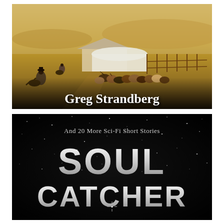[Figure (illustration): Top book cover showing a western painting of cowboys herding cattle on an open plain with ranch buildings in the background. The author name 'Greg Strandberg' appears in large bold white serif text at the bottom of the cover.]
[Figure (illustration): Bottom book cover with a black starfield background. Text reads 'And 20 More Sci-Fi Short Stories' in smaller gray/white text near the top, and 'SOUL CATCHER' in large bold metallic white letters at the bottom.]